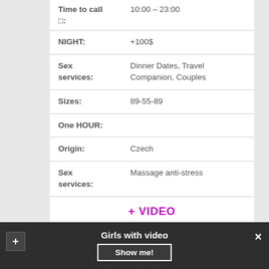| Time to call | 10:00 – 23:00 |
| □: |  |
| NIGHT: | +100$ |
| Sex services: | Dinner Dates, Travel Companion, Couples |
| Sizes: | 89-55-89 |
| One HOUR: |  |
| Origin: | Czech |
| Sex services: | Massage anti-stress |
|  | + VIDEO |
| Comments: |  |
Girls with video
Show me!